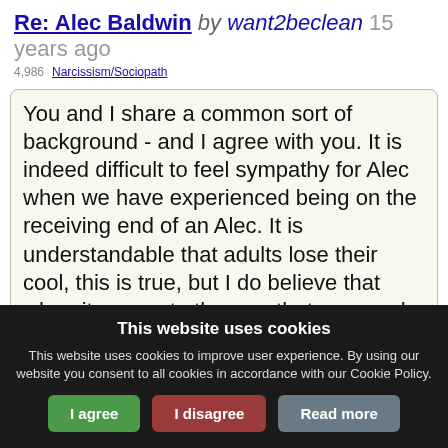Re: Alec Baldwin by want2beclean 15 years ago  4,986  Narcissism/Sociopath
You and I share a common sort of background - and I agree with you. It is indeed difficult to feel sympathy for Alec when we have experienced being on the receiving end of an Alec. It is understandable that adults lose their cool, this is true, but I do believe that when it comes to the way that we speak to young people, then to talk like that is a high form of abuse. I don't give a shit if you are mad at your ex-wife, or if she is a psycho, there is
This website uses cookies
This website uses cookies to improve user experience. By using our website you consent to all cookies in accordance with our Cookie Policy.
I agree  I disagree  Read more